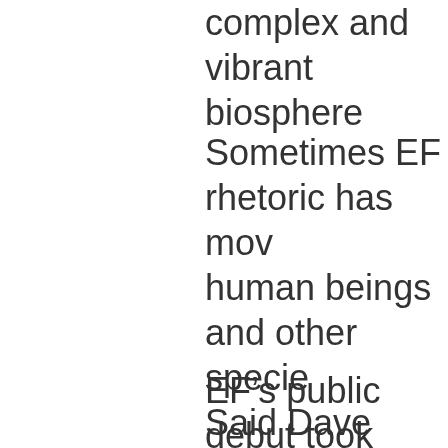complex and vibrant biosphere
Sometimes EF rhetoric has moved beyond a general concern for human beings and other species. Said Dave Foreman in 1991: "We... the Earth First! Journal publish going out to shoot other hunters... issue of that same publication t... bring human population back ... AIDS." And a speaker at one of ... human population" is zero.
EF's public debut took place o... sheet of black polyurethane, d...